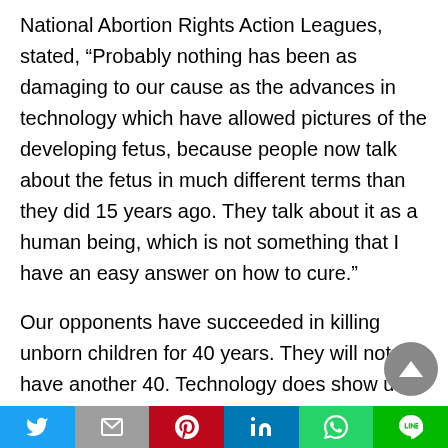National Abortion Rights Action Leagues, stated, “Probably nothing has been as damaging to our cause as the advances in technology which have allowed pictures of the developing fetus, because people now talk about the fetus in much different terms than they did 15 years ago. They talk about it as a human being, which is not something that I have an easy answer on how to cure.”
Our opponents have succeeded in killing unborn children for 40 years. They will not have another 40. Technology does show us that abortion stops a beating heart. The abortion lobby does not want women to see an ultrasound of their unborn child
Twitter | Mail | Pinterest | LinkedIn | WhatsApp | LINE